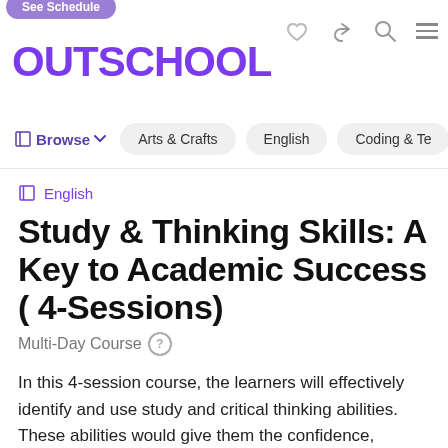See Schedule | OUTSCHOOL
Browse  Arts & Crafts  English  Coding & Te
English
Study & Thinking Skills: A Key to Academic Success ( 4-Sessions)
Multi-Day Course
In this 4-session course, the learners will effectively identify and use study and critical thinking abilities. These abilities would give them the confidence, motivation, and engagement to